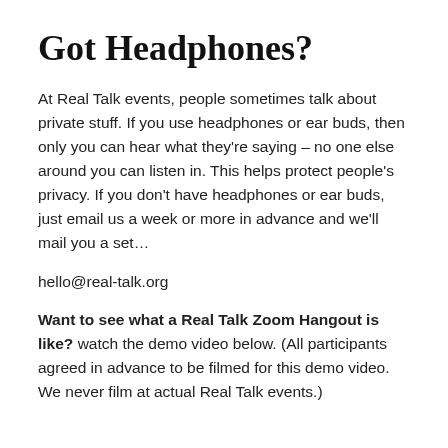Got Headphones?
At Real Talk events, people sometimes talk about private stuff. If you use headphones or ear buds, then only you can hear what they're saying – no one else around you can listen in. This helps protect people's privacy. If you don't have headphones or ear buds, just email us a week or more in advance and we'll mail you a set…
hello@real-talk.org
Want to see what a Real Talk Zoom Hangout is like? watch the demo video below. (All participants agreed in advance to be filmed for this demo video. We never film at actual Real Talk events.)